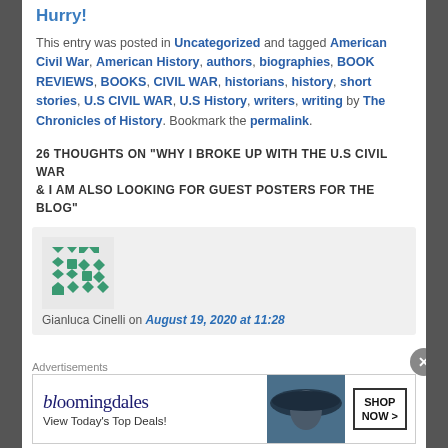Hurry!
This entry was posted in Uncategorized and tagged American Civil War, American History, authors, biographies, BOOK REVIEWS, BOOKS, CIVIL WAR, historians, history, short stories, U.S CIVIL WAR, U.S History, writers, writing by The Chronicles of History. Bookmark the permalink.
26 THOUGHTS ON “WHY I BROKE UP WITH THE U.S CIVIL WAR & I AM ALSO LOOKING FOR GUEST POSTERS FOR THE BLOG”
[Figure (logo): Green geometric gravatar-style avatar for Gianluca Cinelli]
Gianluca Cinelli on August 19, 2020 at 11:28
Advertisements
[Figure (infographic): Bloomingdale's advertisement banner: 'View Today's Top Deals!' with SHOP NOW button and image of woman in hat]